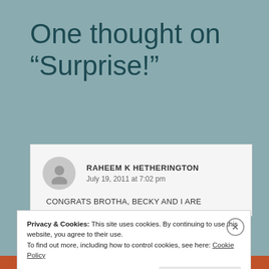One thought on “Surprise!”
RAHEEM K HETHERINGTON
July 19, 2011 at 7:02 pm
CONGRATS BROTHA, BECKY AND I ARE
Privacy & Cookies: This site uses cookies. By continuing to use this website, you agree to their use.
To find out more, including how to control cookies, see here: Cookie Policy
Close and accept